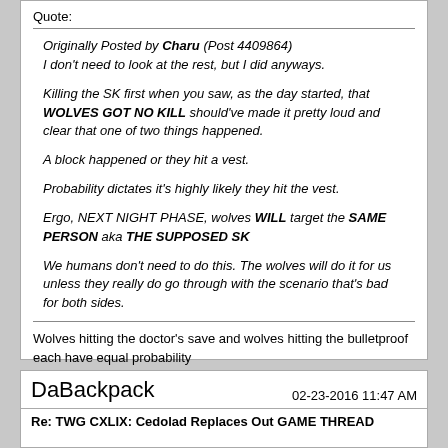Quote:
Originally Posted by Charu (Post 4409864)
I don't need to look at the rest, but I did anyways.

Killing the SK first when you saw, as the day started, that WOLVES GOT NO KILL should've made it pretty loud and clear that one of two things happened.

A block happened or they hit a vest.

Probability dictates it's highly likely they hit the vest.

Ergo, NEXT NIGHT PHASE, wolves WILL target the SAME PERSON aka THE SUPPOSED SK

We humans don't need to do this. The wolves will do it for us unless they really do go through with the scenario that's bad for both sides.
Wolves hitting the doctor’s save and wolves hitting the bulletproof each have equal probability
DaBackpack
02-23-2016 11:47 AM
Re: TWG CXLIX: Cedolad Replaces Out GAME THREAD